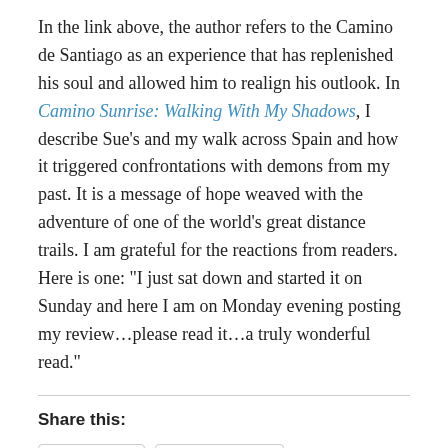In the link above, the author refers to the Camino de Santiago as an experience that has replenished his soul and allowed him to realign his outlook. In Camino Sunrise: Walking With My Shadows, I describe Sue’s and my walk across Spain and how it triggered confrontations with demons from my past. It is a message of hope weaved with the adventure of one of the world’s great distance trails. I am grateful for the reactions from readers. Here is one: “I just sat down and started it on Sunday and here I am on Monday evening posting my review…please read it…a truly wonderful read.”
Share this:
Twitter
Facebook
[Figure (other): Row of avatar/profile thumbnails at the bottom of the page]